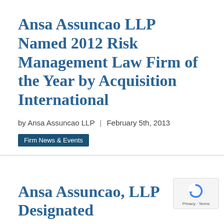Ansa Assuncao LLP Named 2012 Risk Management Law Firm of the Year by Acquisition International
by Ansa Assuncao LLP | February 5th, 2013
Firm News & Events
Ansa Assuncao, LLP Designated